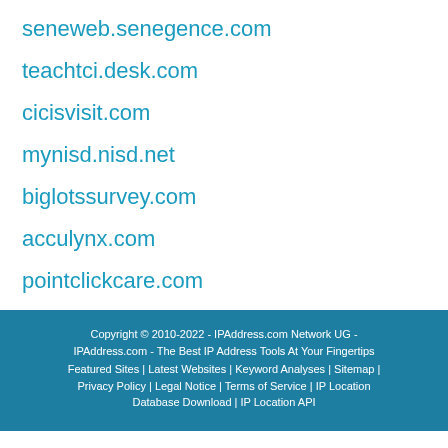seneweb.senegence.com
teachtci.desk.com
cicisvisit.com
mynisd.nisd.net
biglotssurvey.com
acculynx.com
pointclickcare.com
Copyright © 2010-2022 - IPAddress.com Network UG - IPAddress.com - The Best IP Address Tools At Your Fingertips
Featured Sites | Latest Websites | Keyword Analyses | Sitemap | Privacy Policy | Legal Notice | Terms of Service | IP Location Database Download | IP Location API